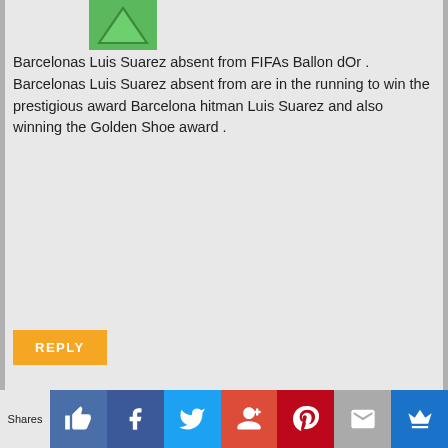[Figure (illustration): Green triangle avatar icon]
Barcelonas Luis Suarez absent from FIFAs Ballon dOr . Barcelonas Luis Suarez absent from are in the running to win the prestigious award Barcelona hitman Luis Suarez and also winning the Golden Shoe award .
REPLY
[Figure (illustration): Pink cartoon shocked face avatar icon on blue background for squawka.com]
SQUAWKA.COM
NOVEMBER 5, 2014 @ 10:06 AM
The five frontrunners for the 2014 Ballon dOr award . The five frontrunners for the 2014 Ballon d which enabled him to win the Pichichi and European Golden Shoe award albeit sharing the latter with
Shares | Like | Facebook | Twitter | Google+ | Pinterest | Mail | Crown